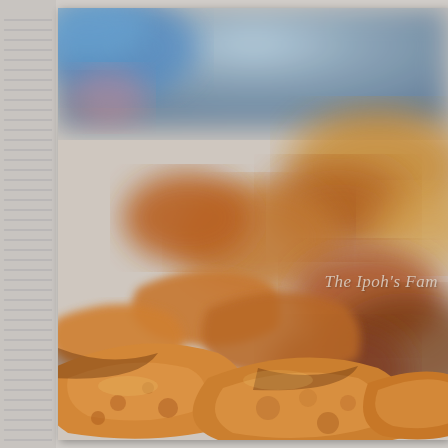[Figure (photo): Close-up photograph of golden-brown fried or braised meat pieces (likely chicken or pork) on a tray or pan, with a shallow depth of field making the background blurry. A blue object is visible in the top-left background. The photo has a warm, golden-brown color palette. Watermark text reads 'The Ipoh's Fam' visible on the right side of the image.]